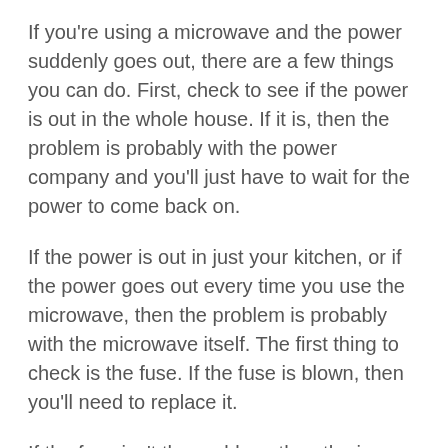If you're using a microwave and the power suddenly goes out, there are a few things you can do. First, check to see if the power is out in the whole house. If it is, then the problem is probably with the power company and you'll just have to wait for the power to come back on.
If the power is out in just your kitchen, or if the power goes out every time you use the microwave, then the problem is probably with the microwave itself. The first thing to check is the fuse. If the fuse is blown, then you'll need to replace it.
If the fuse isn't the problem, then the issue is probably with the microwave itself. In this case,